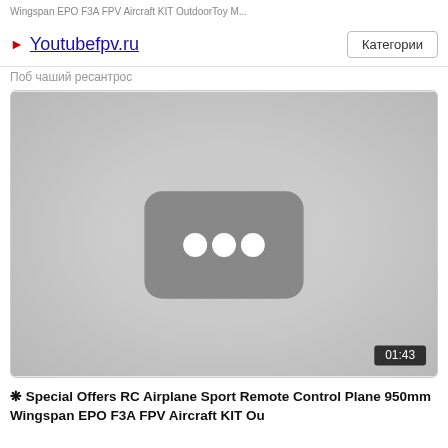Wingspan EPO F3A FPV Aircraft KIT OutdoorToy M...
► Youtubefpv.ru    Категории
Поб чаший ресантрос
[Figure (screenshot): Video thumbnail placeholder showing a dark rounded rectangle with three white dots in the center, resembling a YouTube loading state. Duration shown as 01:43 in bottom right corner.]
❋ Special Offers RC Airplane Sport Remote Control Plane 950mm Wingspan EPO F3A FPV Aircraft KIT Ou